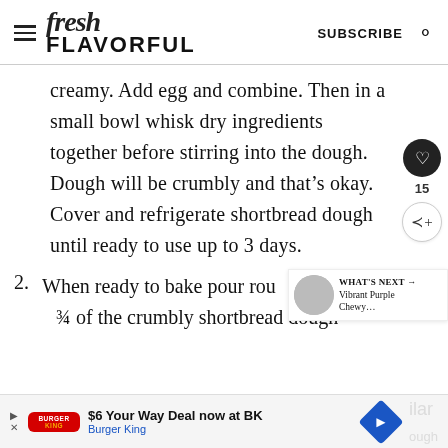fresh FLAVORFUL — SUBSCRIBE
creamy. Add egg and combine. Then in a small bowl whisk dry ingredients together before stirring into the dough. Dough will be crumbly and that’s okay. Cover and refrigerate shortbread dough until ready to use up to 3 days.
2. When ready to bake pour rou... ¾ of the crumbly shortbread dough
[Figure (other): Advertisement bar: Burger King $6 Your Way Deal now at BK]
[Figure (other): What's Next panel: Vibrant Purple Chewy...]